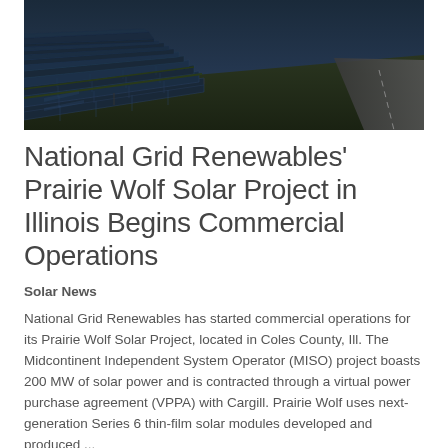[Figure (photo): Aerial/perspective view of a large solar panel array (solar farm) with rows of dark blue photovoltaic panels extending into the distance, with grass between rows and a road visible on the right side under a dark sky.]
National Grid Renewables' Prairie Wolf Solar Project in Illinois Begins Commercial Operations
Solar News
National Grid Renewables has started commercial operations for its Prairie Wolf Solar Project, located in Coles County, Ill. The Midcontinent Independent System Operator (MISO) project boasts 200 MW of solar power and is contracted through a virtual power purchase agreement (VPPA) with Cargill. Prairie Wolf uses next-generation Series 6 thin-film solar modules developed and produced ...
Read More »